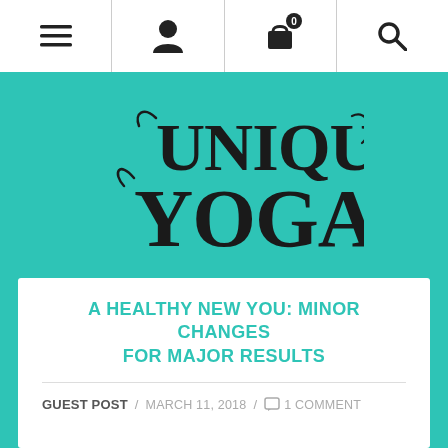Navigation bar with menu, user, cart (0), and search icons
[Figure (logo): Uniquely Yoga logo in dark text on teal background]
A HEALTHY NEW YOU: MINOR CHANGES FOR MAJOR RESULTS
GUEST POST / MARCH 11, 2018 / 1 COMMENT